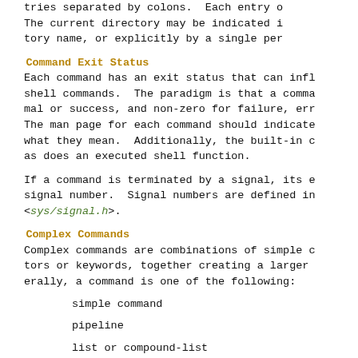tries separated by colons.  Each entry o The current directory may be indicated i tory name, or explicitly by a single per
Command Exit Status
Each command has an exit status that can infl shell commands.  The paradigm is that a comma mal or success, and non-zero for failure, err The man page for each command should indicate what they mean.  Additionally, the built-in c as does an executed shell function.
If a command is terminated by a signal, its e signal number.  Signal numbers are defined in <sys/signal.h>.
Complex Commands
Complex commands are combinations of simple c tors or keywords, together creating a larger erally, a command is one of the following:
simple command
pipeline
list or compound-list
compound command